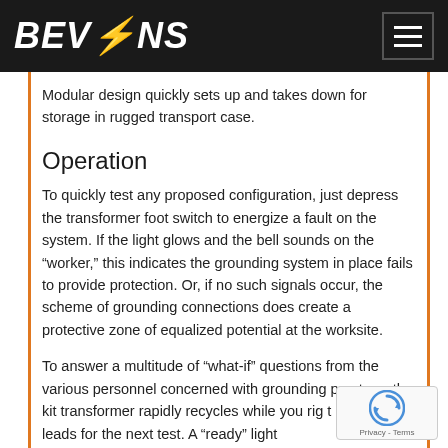BEVINS
Modular design quickly sets up and takes down for storage in rugged transport case.
Operation
To quickly test any proposed configuration, just depress the transformer foot switch to energize a fault on the system. If the light glows and the bell sounds on the “worker,” this indicates the grounding system in place fails to provide protection. Or, if no such signals occur, the scheme of grounding connections does create a protective zone of equalized potential at the worksite.
To answer a multitude of “what-if” questions from various personnel concerned with grounding practices, the kit transformer rapidly recycles while you rig the grounding leads for the next test. A “ready” light...